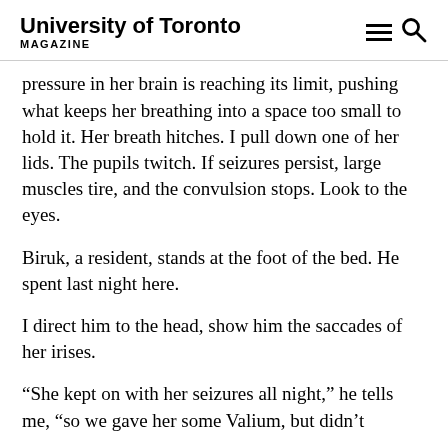University of Toronto MAGAZINE
pressure in her brain is reaching its limit, pushing what keeps her breathing into a space too small to hold it. Her breath hitches. I pull down one of her lids. The pupils twitch. If seizures persist, large muscles tire, and the convulsion stops. Look to the eyes.
Biruk, a resident, stands at the foot of the bed. He spent last night here.
I direct him to the head, show him the saccades of her irises.
“She kept on with her seizures all night,” he tells me, “so we gave her some Valium, but didn’t